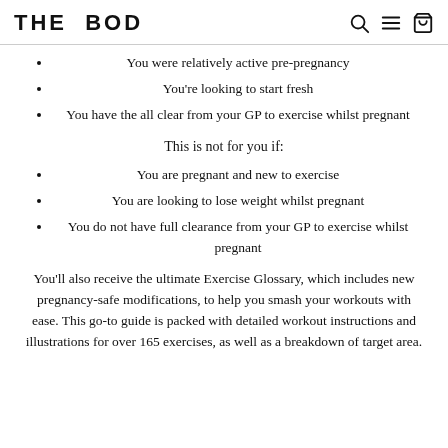THE BOD
You were relatively active pre-pregnancy
You're looking to start fresh
You have the all clear from your GP to exercise whilst pregnant
This is not for you if:
You are pregnant and new to exercise
You are looking to lose weight whilst pregnant
You do not have full clearance from your GP to exercise whilst pregnant
You'll also receive the ultimate Exercise Glossary, which includes new pregnancy-safe modifications, to help you smash your workouts with ease. This go-to guide is packed with detailed workout instructions and illustrations for over 165 exercises, as well as a breakdown of target area.